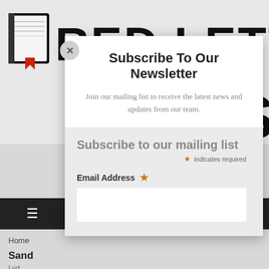[Figure (screenshot): Background showing partial Red Letter logo with book icon and large bold text 'RED LETTER']
Subscribe To Our Newsletter
Join our mailing list to receive the latest news and updates from our team.
Subscribe to our mailing list
* indicates required
Email Address *